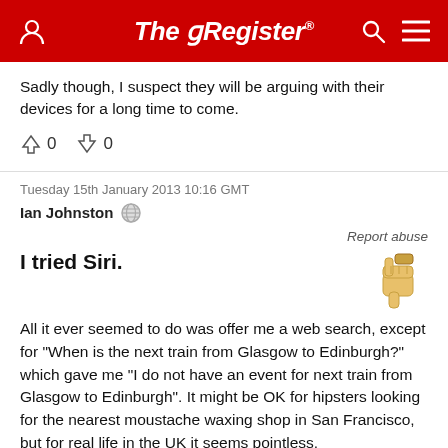The Register
Sadly though, I suspect they will be arguing with their devices for a long time to come.
↑ 0   ↓ 0
Tuesday 15th January 2013 10:16 GMT
Ian Johnston
Report abuse
I tried Siri.
All it ever seemed to do was offer me a web search, except for "When is the next train from Glasgow to Edinburgh?" which gave me "I do not have an event for next train from Glasgow to Edinburgh". It might be OK for hipsters looking for the nearest moustache waxing shop in San Francisco, but for real life in the UK it seems pointless.
↑ 1   ↓ 0